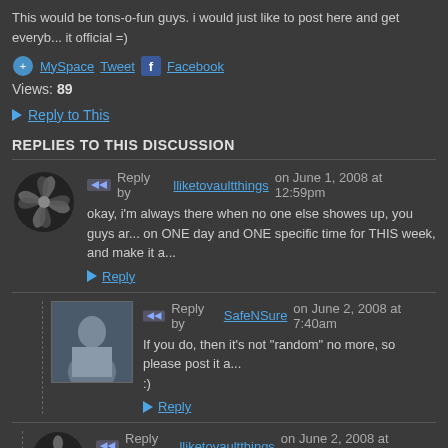This would be tons-o-fun guys. i would just like to post here and get everyb... it official =)
MySpace Tweet Facebook
Views: 89
▶ Reply to This
REPLIES TO THIS DISCUSSION
Reply by lliketovaultthings on June 1, 2008 at 12:59pm
okay, i'm always there when no one else showes up, you guys ar... on ONE day and ONE specific time for THIS week, and make it a...
▶ Reply
Reply by SafeNSure on June 2, 2008 at 7:40am
If you do, then it's not "random" no more, so please post it a... :)
▶ Reply
Reply by lliketovaultthings on June 2, 2008 at 10:37am
i guess i could, but i go there randomly and sometimes... event.